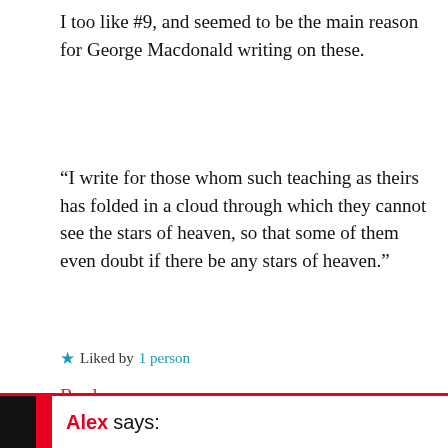I too like #9, and seemed to be the main reason for George Macdonald writing on these.
“I write for those whom such teaching as theirs has folded in a cloud through which they cannot see the stars of heaven, so that some of them even doubt if there be any stars of heaven.”
★ Liked by 1 person
Reply →
Alex says: